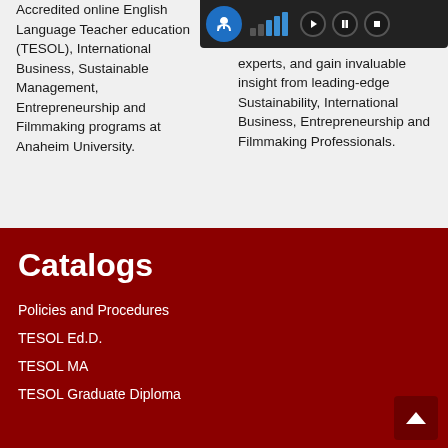Accredited online English Language Teacher education (TESOL), International Business, Sustainable Management, Entrepreneurship and Filmmaking programs at Anaheim University.
experts, and gain invaluable insight from leading-edge Sustainability, International Business, Entrepreneurship and Filmmaking Professionals.
Catalogs
Policies and Procedures
TESOL Ed.D.
TESOL MA
TESOL Graduate Diploma